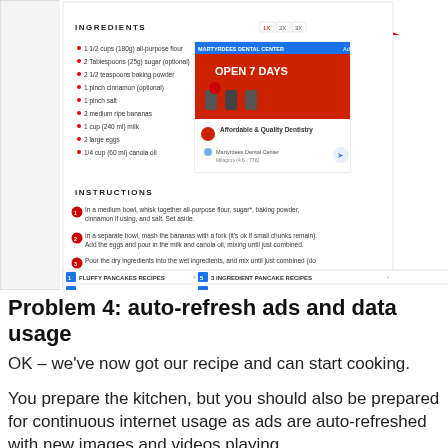[Figure (screenshot): Screenshot of a banana pancake recipe webpage showing INGREDIENTS section with a list of ingredients (1 1/2 cups all-purpose flour, 2 Tablespoons sugar optional, 2 1/2 teaspoons baking powder, 1 pinch cinnamon optional, 1 pinch salt, 2 medium ripe bananas, 1 cup milk, 2 large eggs, 1/4 cup canola oil) and INSTRUCTIONS section beginning with steps. An advertisement for a dental center and search result ads for pancake recipes overlay the page. A red arrow cursor points to an area in the top right.]
Problem 4: auto-refresh ads and data usage
OK – we've now got our recipe and can start cooking.
You prepare the kitchen, but you should also be prepared for continuous internet usage as ads are auto-refreshed with new images and videos playing.